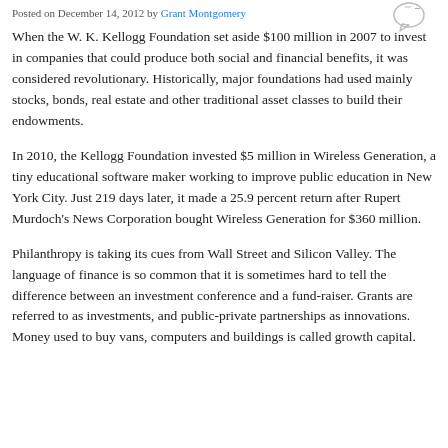Posted on December 14, 2012 by Grant Montgomery
When the W. K. Kellogg Foundation set aside $100 million in 2007 to invest in companies that could produce both social and financial benefits, it was considered revolutionary. Historically, major foundations had used mainly stocks, bonds, real estate and other traditional asset classes to build their endowments.
In 2010, the Kellogg Foundation invested $5 million in Wireless Generation, a tiny educational software maker working to improve public education in New York City. Just 219 days later, it made a 25.9 percent return after Rupert Murdoch's News Corporation bought Wireless Generation for $360 million.
Philanthropy is taking its cues from Wall Street and Silicon Valley. The language of finance is so common that it is sometimes hard to tell the difference between an investment conference and a fund-raiser. Grants are referred to as investments, and public-private partnerships as innovations. Money used to buy vans, computers and buildings is called growth capital.